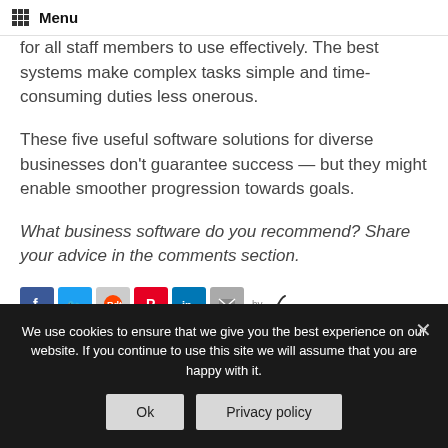Menu
for all staff members to use effectively. The best systems make complex tasks simple and time-consuming duties less onerous.
These five useful software solutions for diverse businesses don't guarantee success — but they might enable smoother progression towards goals.
What business software do you recommend? Share your advice in the comments section.
[Figure (infographic): Social share icons: Facebook, Twitter, Reddit, Pinterest, LinkedIn, Email, and 'by' with a feather logo]
We use cookies to ensure that we give you the best experience on our website. If you continue to use this site we will assume that you are happy with it.
Ok  Privacy policy